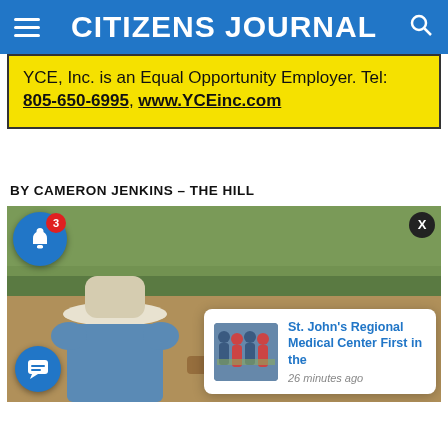CITIZENS JOURNAL
YCE, Inc. is an Equal Opportunity Employer. Tel: 805-650-6995, www.YCEinc.com
BY CAMERON JENKINS – The Hill
[Figure (photo): A cowboy in a white hat viewed from behind, overlooking a field with trees; overlaid with a notification bell icon showing badge 3, a chat bubble icon, an X close button, and a popup card reading 'St. John's Regional Medical Center First in the' with '26 minutes ago']